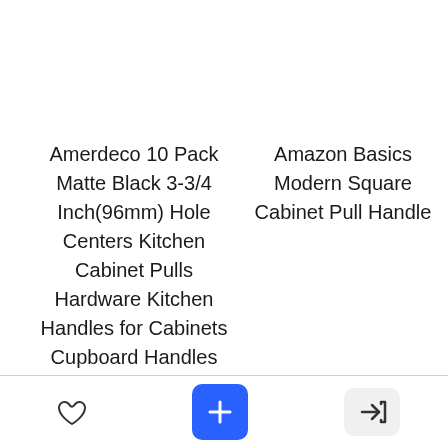Amerdeco 10 Pack Matte Black 3-3/4 Inch(96mm) Hole Centers Kitchen Cabinet Pulls Hardware Kitchen Handles for Cabinets Cupboard Handles Drawer Pulls
Amazon Basics Modern Square Cabinet Pull Handle
[Figure (other): Footer navigation bar with three buttons: a heart/favorite icon (outline), a blue plus button, and a gray arrow/login button]